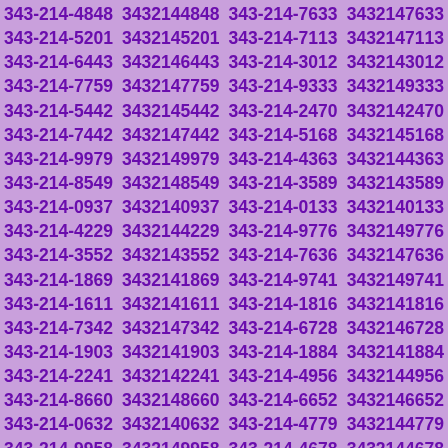343-214-4848 3432144848 343-214-7633 3432147633 343-214-5201 3432145201 343-214-7113 3432147113 343-214-6443 3432146443 343-214-3012 3432143012 343-214-7759 3432147759 343-214-9333 3432149333 343-214-5442 3432145442 343-214-2470 3432142470 343-214-7442 3432147442 343-214-5168 3432145168 343-214-9979 3432149979 343-214-4363 3432144363 343-214-8549 3432148549 343-214-3589 3432143589 343-214-0937 3432140937 343-214-0133 3432140133 343-214-4229 3432144229 343-214-9776 3432149776 343-214-3552 3432143552 343-214-7636 3432147636 343-214-1869 3432141869 343-214-9741 3432149741 343-214-1611 3432141611 343-214-1816 3432141816 343-214-7342 3432147342 343-214-6728 3432146728 343-214-1903 3432141903 343-214-1884 3432141884 343-214-2241 3432142241 343-214-4956 3432144956 343-214-8660 3432148660 343-214-6652 3432146652 343-214-0632 3432140632 343-214-4779 3432144779 343-214-9958 3432149958 343-214-4678 3432144678 343-214-7749 3432147749 343-214-7989 3432147989 343-214-4703 3432144703 343-214-2746 3432142746